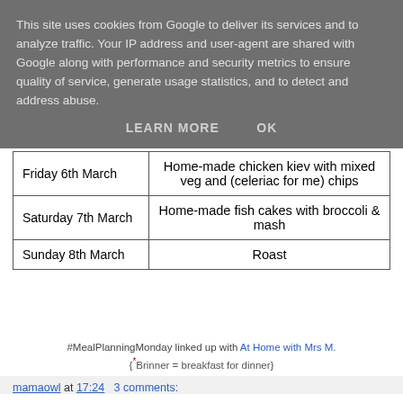This site uses cookies from Google to deliver its services and to analyze traffic. Your IP address and user-agent are shared with Google along with performance and security metrics to ensure quality of service, generate usage statistics, and to detect and address abuse.
LEARN MORE   OK
| Friday 6th March | Home-made chicken kiev with mixed veg and (celeriac for me) chips |
| Saturday 7th March | Home-made fish cakes with broccoli & mash |
| Sunday 8th March | Roast |
#MealPlanningMonday linked up with At Home with Mrs M.
{*Brinner = breakfast for dinner}
mamaowl at 17:24   3 comments: